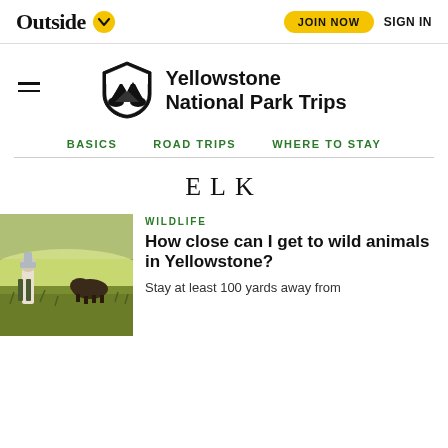Outside  JOIN NOW  SIGN IN
Yellowstone National Park Trips
BASICS  ROAD TRIPS  WHERE TO STAY
ELK
[Figure (photo): Person standing in a meadow with a bison in the background at Yellowstone National Park]
WILDLIFE
How close can I get to wild animals in Yellowstone?
Stay at least 100 yards away from